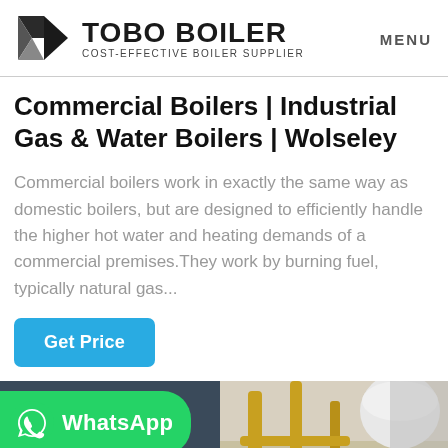TOBO BOILER COST-EFFECTIVE BOILER SUPPLIER | MENU
Commercial Boilers | Industrial Gas & Water Boilers | Wolseley
Commercial boilers work in exactly the same way as domestic boilers, but are designed to efficiently handle the higher hot water and heating demands of a commercial premises.They work by burning fuel, typically natural gas...
Get Price
[Figure (photo): Industrial boiler room scene with blue boiler unit on the left and yellow metal pipes/railings on the right. A WhatsApp contact button overlay is visible in the lower left.]